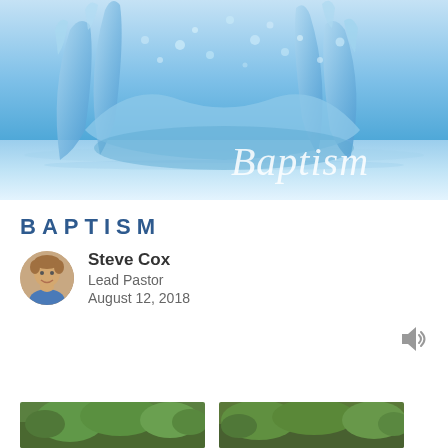[Figure (photo): Water splash photograph with the word 'Baptism' overlaid in white italic serif font. Blue water splash crown shape with droplets against a light blue background with water reflection.]
BAPTISM
Steve Cox
Lead Pastor
August 12, 2018
[Figure (photo): Outdoor landscape thumbnail image showing green trees]
[Figure (photo): Outdoor landscape thumbnail image showing green trees]